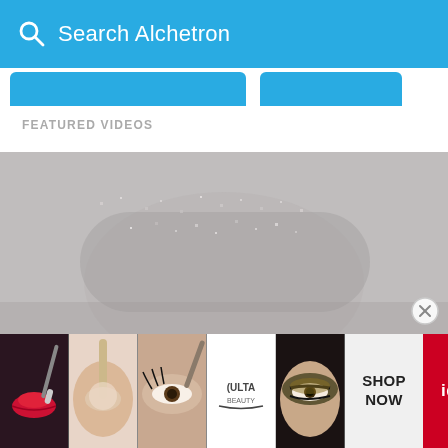Search Alchetron
FEATURED VIDEOS
[Figure (screenshot): Alchetron website screenshot showing search bar with 'Search Alchetron' text, tab navigation bar, FEATURED VIDEOS section header, empty content area with a partial glitter/makeup face image, and a beauty advertisement banner at the bottom featuring makeup images, ULTA beauty logo, SHOP NOW text, and id-19 tag]
[Figure (photo): Partial photo of a face covered in silver glitter against a grey background]
[Figure (advertisement): ULTA beauty advertisement strip with makeup photos (red lips with brush, powder brush on face, eye with makeup brush, ULTA BEAUTY logo, eyes with dramatic makeup), SHOP NOW text in black, and id-19 label in red]